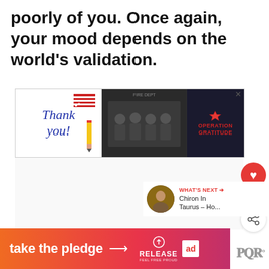poorly of you. Once again, your mood depends on the world's validation.
[Figure (infographic): Advertisement banner for Operation Gratitude showing 'Thank you!' written in cursive with American flag motif pencil on left, group photo of firefighters in the middle, and Operation Gratitude logo on right with close button.]
[Figure (infographic): Heart/like button (red circle with white heart icon), number 2 below it, and a share button (white circle with share icon)]
[Figure (infographic): What's Next section with thumbnail image and text 'Chiron In Taurus - Ho...']
[Figure (infographic): Bottom advertisement banner with gradient orange-to-pink background reading 'take the pledge' with arrow, Release logo, and ad icon. Beside it a blog logo mark.]